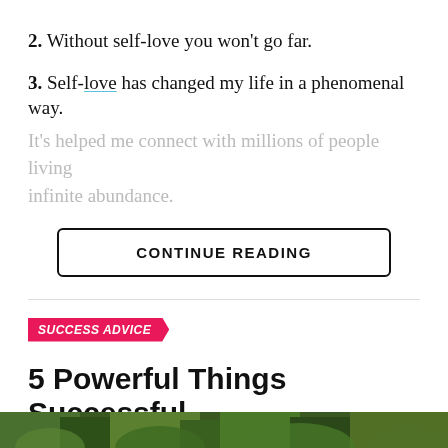2. Without self-love you won't go far.
3. Self-love has changed my life in a phenomenal way. It's helped me connect with millions of people living infinite abundance.
CONTINUE READING
SUCCESS ADVICE
5 Powerful Things Successful People Do Differently
Published 4 years ago on February 2, 2019
By Nakul Grover
[Figure (photo): Bottom portion of an outdoor nature photo, green foliage visible]